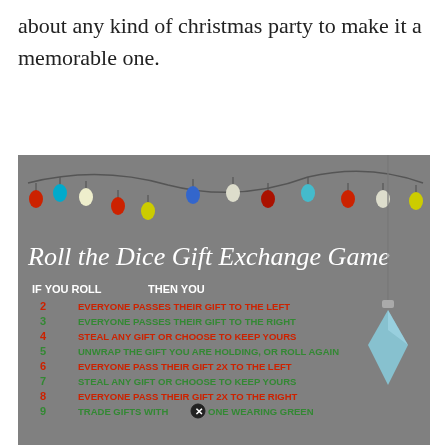about any kind of christmas party to make it a memorable one.
[Figure (infographic): Roll the Dice Gift Exchange Game infographic on a gray background with Christmas string lights at top and a hanging ornament. Lists dice rolls 2-9 with corresponding actions alternating in red and green text.]